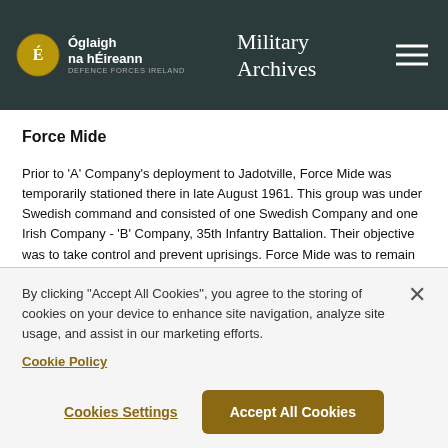Military Archives
Force Mide
Prior to 'A' Company's deployment to Jadotville, Force Mide was temporarily stationed there in late August 1961. This group was under Swedish command and consisted of one Swedish Company and one Irish Company - 'B' Company, 35th Infantry Battalion. Their objective was to take control and prevent uprisings. Force Mide was to remain in Jadotville for two to three weeks and to impress upon the European population there that the UN were on high alert. Maj Mide of the Swedish Battalion soon gathered that they were not welcome and after receiving instructions from Katanga Command's Sector
By clicking "Accept All Cookies", you agree to the storing of cookies on your device to enhance site navigation, analyze site usage, and assist in our marketing efforts.
Cookie Policy
Cookies Settings
Accept All Cookies